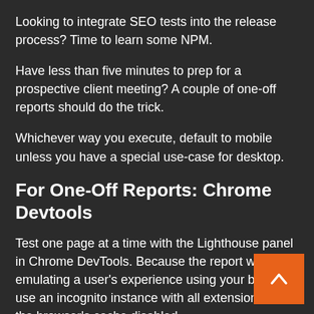Looking to integrate SEO tests into the release process? Time to learn some NPM.
Have less than five minutes to prep for a prospective client meeting? A couple of one-off reports should do the trick.
Whichever way you execute, default to mobile unless you have a special use-case for desktop.
For One-Off Reports: Chrome Devtools
Test one page at a time with the Lighthouse panel in Chrome DevTools. Because the report will be emulating a user's experience using your browser, use an incognito instance with all extensions, and the browser's cache disabled.